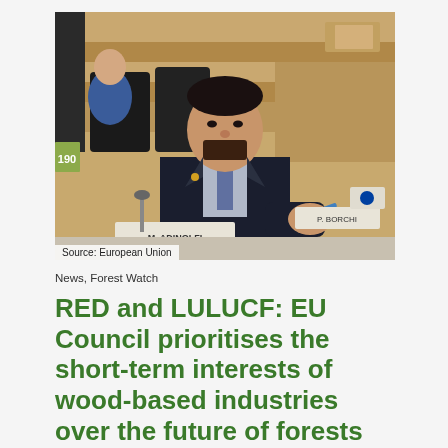[Figure (photo): A man in a dark suit and tie seated in what appears to be a European Parliament chamber, with name placards 'M. ADINOLFI' and 'P. BORCHI' visible on the desk. He is speaking or gesturing, holding a pen. Other attendees are visible in the background among rows of wooden seating.]
Source: European Union
News, Forest Watch
RED and LULUCF: EU Council prioritises the short-term interests of wood-based industries over the future of forests